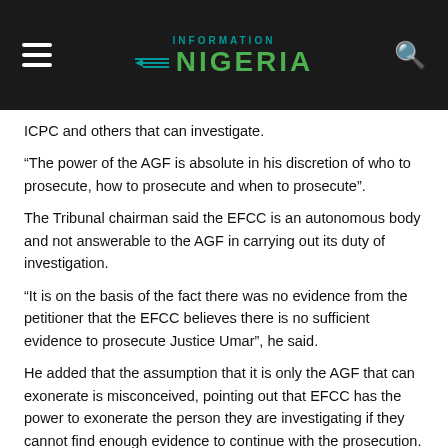Information Nigeria
ICPC and others that can investigate.
“The power of the AGF is absolute in his discretion of who to prosecute, how to prosecute and when to prosecute”.
The Tribunal chairman said the EFCC is an autonomous body and not answerable to the AGF in carrying out its duty of investigation.
“It is on the basis of the fact there was no evidence from the petitioner that the EFCC believes there is no sufficient evidence to prosecute Justice Umar”, he said.
He added that the assumption that it is only the AGF that can exonerate is misconceived, pointing out that EFCC has the power to exonerate the person they are investigating if they cannot find enough evidence to continue with the prosecution.
In his immediate reaction, Saraki's counsel, Ajibola Oluyede,